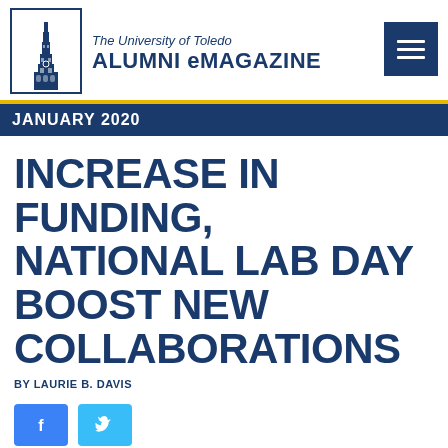The University of Toledo ALUMNI eMAGAZINE
JANUARY 2020
INCREASE IN FUNDING, NATIONAL LAB DAY BOOST NEW COLLABORATIONS
BY LAURIE B. DAVIS
[Figure (other): Social media share buttons: Facebook and Twitter]